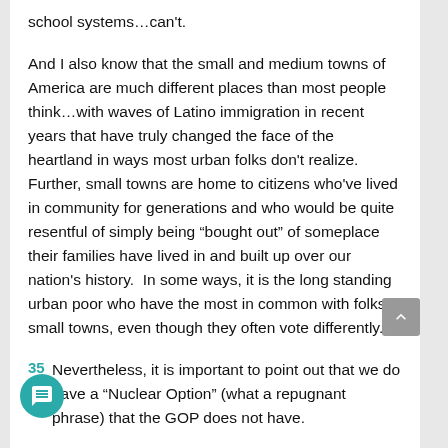school systems…can't.
And I also know that the small and medium towns of America are much different places than most people think…with waves of Latino immigration in recent years that have truly changed the face of the heartland in ways most urban folks don't realize.  Further, small towns are home to citizens who've lived in community for generations and who would be quite resentful of simply being “bought out” of someplace their families have lived in and built up over our nation's history.  In some ways, it is the long standing urban poor who have the most in common with folks in small towns, even though they often vote differently.
Nevertheless, it is important to point out that we do have a “Nuclear Option” (what a repugnant phrase) that the GOP does not have.